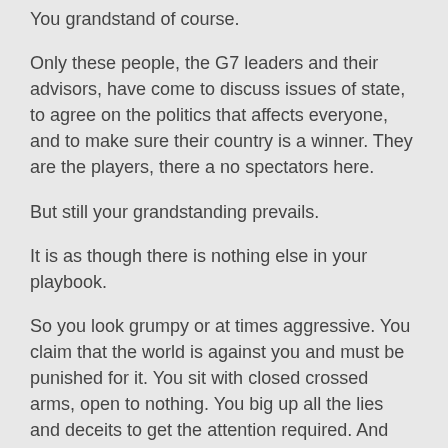You grandstand of course.
Only these people, the G7 leaders and their advisors, have come to discuss issues of state, to agree on the politics that affects everyone, and to make sure their country is a winner. They are the players, there a no spectators here.
But still your grandstanding prevails.
It is as though there is nothing else in your playbook.
So you look grumpy or at times aggressive. You claim that the world is against you and must be punished for it. You sit with closed crossed arms, open to nothing. You big up all the lies and deceits to get the attention required. And then you leave early.